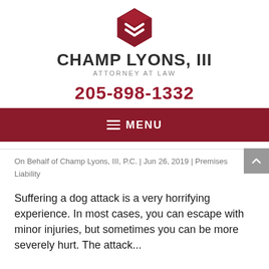[Figure (logo): Champ Lyons III attorney at law logo with red geometric diamond/chevron icon above stylized firm name]
CHAMP LYONS, III
ATTORNEY AT LAW
205-898-1332
MENU
On Behalf of Champ Lyons, III, P.C. | Jun 26, 2019 | Premises Liability
Suffering a dog attack is a very horrifying experience. In most cases, you can escape with minor injuries, but sometimes you can be more severely hurt. The attack...